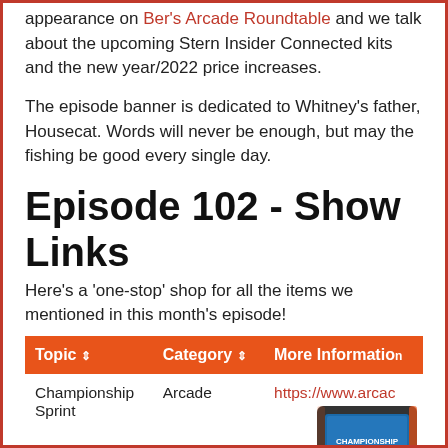appearance on Ber's Arcade Roundtable and we talk about the upcoming Stern Insider Connected kits and the new year/2022 price increases.
The episode banner is dedicated to Whitney's father, Housecat. Words will never be enough, but may the fishing be good every single day.
Episode 102 - Show Links
Here's a 'one-stop' shop for all the items we mentioned in this month's episode!
| Topic | Category | More Information |
| --- | --- | --- |
| Championship Sprint | Arcade | https://www.arcac |